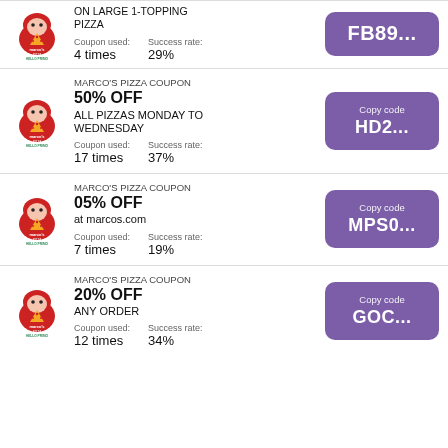[Figure (logo): Marco's Pizza Hello Primo logo - red mascot with pizza slice]
ON LARGE 1-TOPPING PIZZA
Coupon used: 4 times
Success rate: 29%
FB89...
[Figure (logo): Marco's Pizza Hello Primo logo]
MARCO'S PIZZA COUPON 50% OFF ALL PIZZAS MONDAY TO WEDNESDAY
Coupon used: 17 times
Success rate: 37%
HD2...
[Figure (logo): Marco's Pizza Hello Primo logo]
MARCO'S PIZZA COUPON 05% OFF at marcos.com
Coupon used: 7 times
Success rate: 19%
MPS0...
[Figure (logo): Marco's Pizza Hello Primo logo]
MARCO'S PIZZA COUPON 20% OFF ANY ORDER
Coupon used: 12 times
Success rate: 34%
GOC...